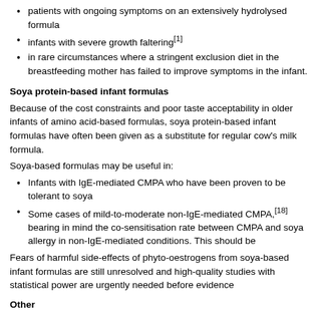patients with ongoing symptoms on an extensively hydrolysed formula
infants with severe growth faltering[1]
in rare circumstances where a stringent exclusion diet in the breastfeeding mother has failed to improve symptoms in the infant.
Soya protein-based infant formulas
Because of the cost constraints and poor taste acceptability in older infants of amino acid-based formulas, soya protein-based infant formulas have often been given as a substitute for regular cow's milk formula.
Soya-based formulas may be useful in:
Infants with IgE-mediated CMPA who have been proven to be tolerant to soya
Some cases of mild-to-moderate non-IgE-mediated CMPA,[18] bearing in mind the co-sensitisation rate between CMPA and soya allergy in non-IgE-mediated conditions. This should be
Fears of harmful side-effects of phyto-oestrogens from soya-based infant formulas are still unresolved and high-quality studies with statistical power are urgently needed before evidence-based recommendations
Other
Other mammalian milks
There is a high cross-reactivity between mammalian milks[1,5,24] (e.g. approximately 90% of children allergic to cow's milk protein react to goat's milk.[25] These mi
Alternative mammalian milks, including goat's and sheep's milk, have not been shown to be nutritionally adequate for use as sole infant formula.
Cereal milks